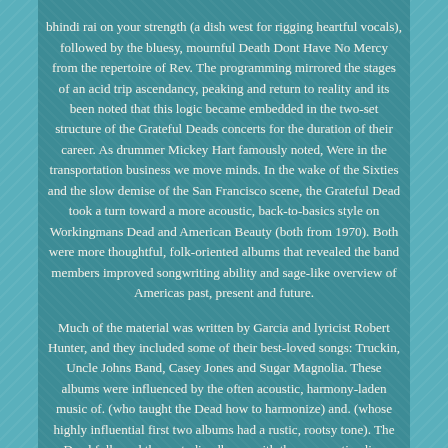bhindi rai on your strength (a dish west for rigging heartful vocals), followed by the bluesy, mournful Death Dont Have No Mercy from the repertoire of Rev. The programming mirrored the stages of an acid trip ascendancy, peaking and return to reality and its been noted that this logic became embedded in the two-set structure of the Grateful Deads concerts for the duration of their career. As drummer Mickey Hart famously noted, Were in the transportation business we move minds. In the wake of the Sixties and the slow demise of the San Francisco scene, the Grateful Dead took a turn toward a more acoustic, back-to-basics style on Workingmans Dead and American Beauty (both from 1970). Both were more thoughtful, folk-oriented albums that revealed the band members improved songwriting ability and sage-like overview of Americas past, present and future.

Much of the material was written by Garcia and lyricist Robert Hunter, and they included some of their best-loved songs: Truckin, Uncle Johns Band, Casey Jones and Sugar Magnolia. These albums were influenced by the often acoustic, harmony-laden music of. (who taught the Dead how to harmonize) and. (whose highly influential first two albums had a rustic, rootsy tone). The Dead followed those studio albums with the consecutive live releases Grateful Dead a.

Skull and Roses and Europe 72. At this point they felt so strongly that their work was best captured in concert that a number of new songs were unveiled on live rather than studio recordings. These included such staples as Grateful Deads Wharf Rat and Bertha and Europe 72s Jack Straw, Hes Gone and Tennessee Jed. Both albums also contained a raft of covers that revealed the Deads growing allegiance to roots music. There were songs by country singers Marty Robbins (El Paso),